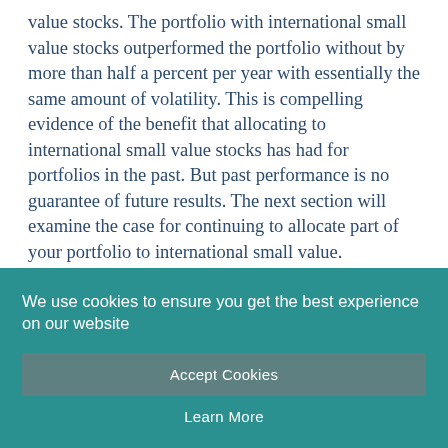value stocks. The portfolio with international small value stocks outperformed the portfolio without by more than half a percent per year with essentially the same amount of volatility. This is compelling evidence of the benefit that allocating to international small value stocks has had for portfolios in the past. But past performance is no guarantee of future results. The next section will examine the case for continuing to allocate part of your portfolio to international small value.
We use cookies to ensure you get the best experience on our website
Accept Cookies
Learn More